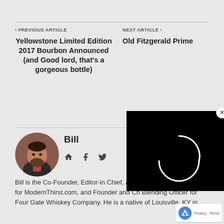◀ PREVIOUS ARTICLE
NEXT ARTICLE ▶
Yellowstone Limited Edition 2017 Bourbon Announced (and Good lord, that's a gorgeous bottle)
Old Fitzgerald Prime
Bill
[Figure (photo): Circular avatar photo of Bill, a bearded man in a dark jacket against a red/dark background]
[Figure (screenshot): Black video player panel with loading spinner (partial arc in white) overlaying the page]
Bill is the Co-Founder, Editor-in Chief, and official Bourbon-o-Phile for ModernThirst.com, and Founder and Ch Blending Officer for Four Gate Whiskey Company. He is a native of Louisville, KY in